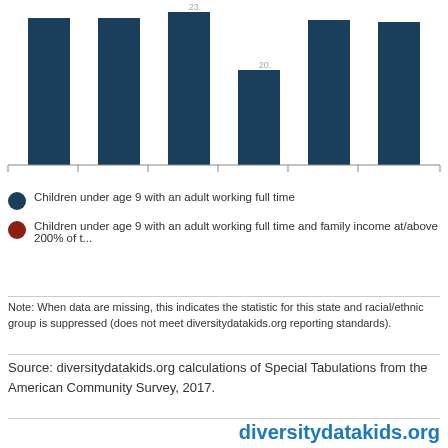[Figure (bar-chart): Children under age 9 with an adult working full time]
Children under age 9 with an adult working full time
Children under age 9 with an adult working full time and family income at/above 200% of t...
Note: When data are missing, this indicates the statistic for this state and racial/ethnic group is suppressed (does not meet diversitydatakids.org reporting standards).
Source: diversitydatakids.org calculations of Special Tabulations from the American Community Survey, 2017.
diversitydatakids.org